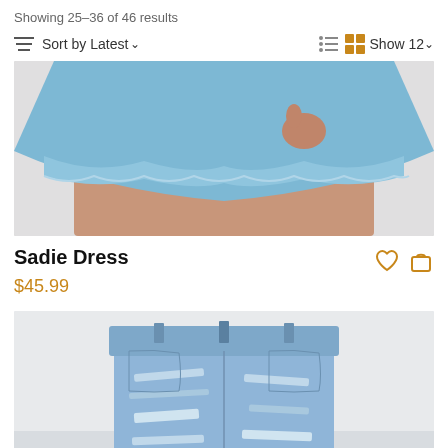Showing 25-36 of 46 results
Sort by Latest  Show 12
[Figure (photo): Bottom half of a woman wearing a short blue ruffled/lace-hem dress, cropped at torso level, light gray background]
Sadie Dress
$45.99
[Figure (photo): Close-up of a woman wearing light blue distressed denim cutoff shorts, showing waist to upper thigh, light gray background]